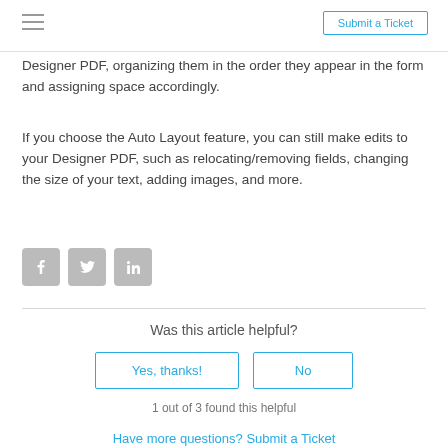Submit a Ticket
Designer PDF, organizing them in the order they appear in the form and assigning space accordingly.
If you choose the Auto Layout feature, you can still make edits to your Designer PDF, such as relocating/removing fields, changing the size of your text, adding images, and more.
[Figure (other): Social sharing icons: Facebook, Twitter, LinkedIn]
Was this article helpful?
Yes, thanks!
No
1 out of 3 found this helpful
Have more questions? Submit a Ticket